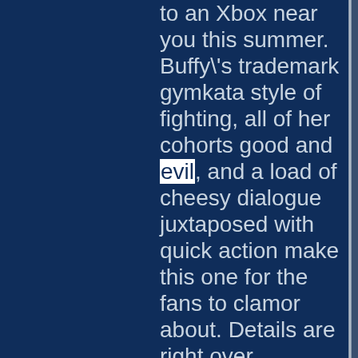to an Xbox near you this summer. Buffy's trademark gymkata style of fighting, all of her cohorts good and evil, and a load of cheesy dialogue juxtaposed with quick action make this one for the fans to clamor about. Details are right over